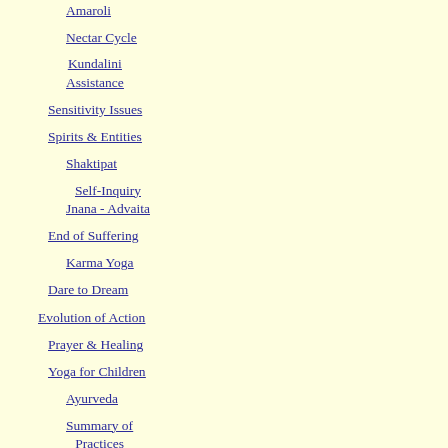Amaroli
Nectar Cycle
Kundalini Assistance
Sensitivity Issues
Spirits & Entities
Shaktipat
Self-Inquiry Jnana - Advaita
End of Suffering
Karma Yoga
Dare to Dream
Evolution of Action
Prayer & Healing
Yoga for Children
Ayurveda
Summary of Practices